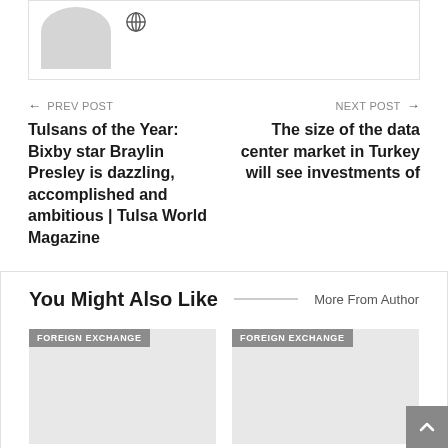[Figure (illustration): Partial view of a user avatar (profile picture placeholder) showing a gray silhouette head/shoulders shape, with a small globe/world icon to its right.]
← PREV POST
Tulsans of the Year: Bixby star Braylin Presley is dazzling, accomplished and ambitious | Tulsa World Magazine
NEXT POST →
The size of the data center market in Turkey will see investments of
You Might Also Like
More From Author
[Figure (photo): Card image placeholder with 'FOREIGN EXCHANGE' tag label, gray background.]
[Figure (photo): Card image placeholder with 'FOREIGN EXCHANGE' tag label, gray background.]